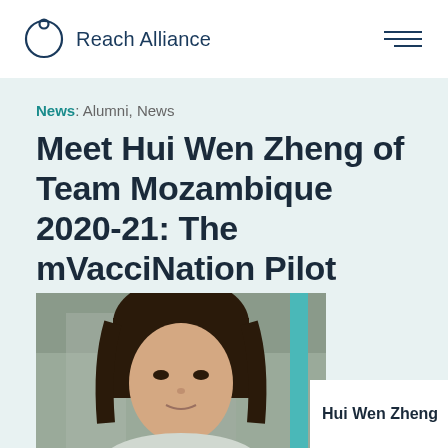Reach Alliance
News: Alumni, News
Meet Hui Wen Zheng of Team Mozambique 2020-21: The mVacciNation Pilot
[Figure (photo): Portrait photo of Hui Wen Zheng with a teal accent bar and white name card overlay reading 'Hui Wen Zheng']